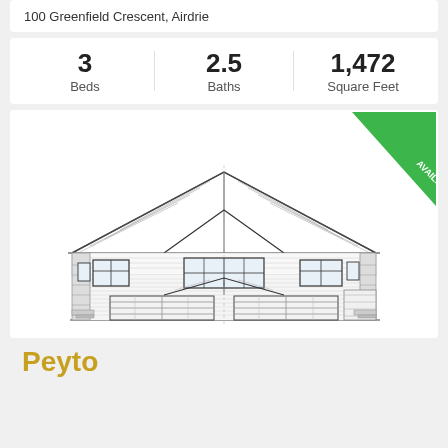100 Greenfield Crescent, Airdrie
| Beds | Baths | Square Feet |
| --- | --- | --- |
| 3 | 2.5 | 1,472 |
[Figure (engineering-diagram): Architectural front elevation drawing of a two-storey house with double garage, craftsman style with decorative gables, multiple windows, and an AVAILABLE green banner in the top right corner.]
Peyto